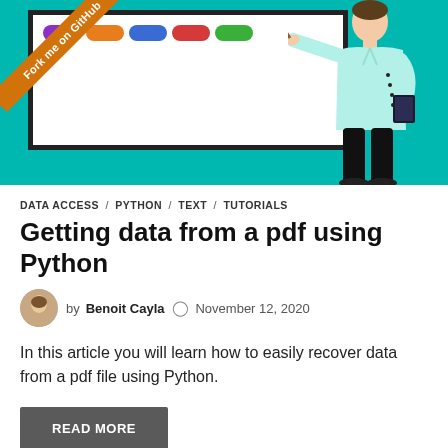[Figure (illustration): Hero image showing a cartoon person in a light blue shirt holding a book and pointing at a whiteboard with colorful badges, with a 'Fork me on GitHub' ribbon in the corner. Background is teal/turquoise.]
DATA ACCESS / PYTHON / TEXT / TUTORIALS
Getting data from a pdf using Python
by Benoit Cayla   November 12, 2020
In this article you will learn how to easily recover data from a pdf file using Python.
READ MORE